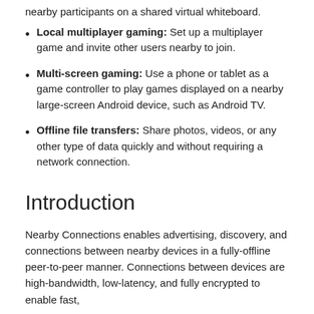nearby participants on a shared virtual whiteboard.
Local multiplayer gaming: Set up a multiplayer game and invite other users nearby to join.
Multi-screen gaming: Use a phone or tablet as a game controller to play games displayed on a nearby large-screen Android device, such as Android TV.
Offline file transfers: Share photos, videos, or any other type of data quickly and without requiring a network connection.
Introduction
Nearby Connections enables advertising, discovery, and connections between nearby devices in a fully-offline peer-to-peer manner. Connections between devices are high-bandwidth, low-latency, and fully encrypted to enable fast,